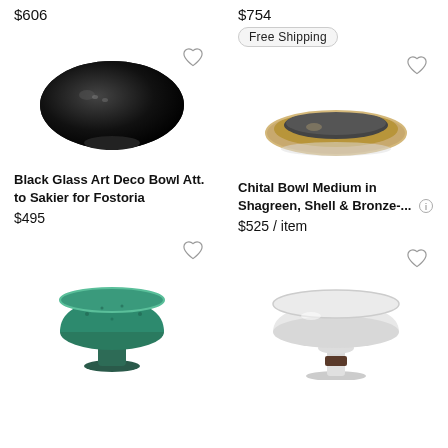$606
$754
Free Shipping
[Figure (photo): Black Glass Art Deco Bowl, a round squat black glass bowl with glossy finish]
[Figure (photo): Chital Bowl Medium in Shagreen, Shell & Bronze - a flat oval dish with gold/bronze rim and dark interior]
Black Glass Art Deco Bowl Att. to Sakier for Fostoria
$495
Chital Bowl Medium in Shagreen, Shell & Bronze-...
$525 / item
[Figure (photo): Green/teal ceramic pedestal bowl with textured surface]
[Figure (photo): White shallow bowl on a cylindrical pedestal with dark band]